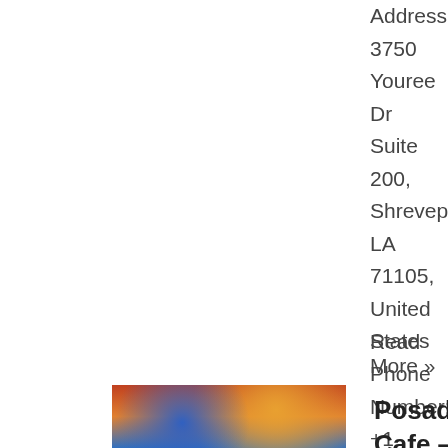Address: 3750 Youree Dr Suite 200, Shreveport, LA 71105, United States Phone Number: +1 318-629-0726 Website: https://www.eatatindigo.com/ Store Hours: Sunday: 11AM-2PM, 5-9PM | Monday: Closed | Tuesday: 11AM-2PM, 5-9PM | Wednesday: 11AM-2PM, ...
Read More »
[Figure (photo): Thumbnail photo of Posados Cafe interior with colorful decor]
Posados Cafe – E Bert